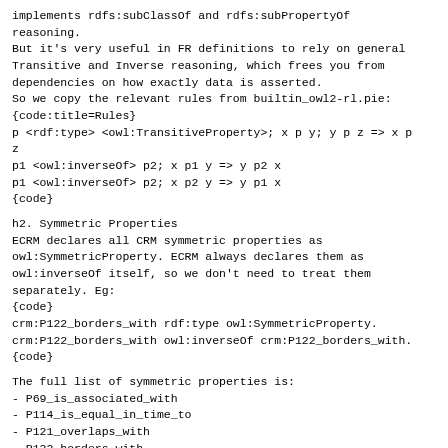implements rdfs:subClassOf and rdfs:subPropertyOf
reasoning.
But it's very useful in FR definitions to rely on general
Transitive and Inverse reasoning, which frees you from
dependencies on how exactly data is asserted.
So we copy the relevant rules from builtin_owl2-rl.pie:
{code:title=Rules}
p <rdf:type> <owl:TransitiveProperty>; x p y; y p z => x p
z
p1 <owl:inverseOf> p2; x p1 y => y p2 x
p1 <owl:inverseOf> p2; x p2 y => y p1 x
{code}
h2. Symmetric Properties
ECRM declares all CRM symmetric properties as
owl:SymmetricProperty. ECRM always declares them as
owl:inverseOf itself, so we don't need to treat them
separately. Eg:
{code}
crm:P122_borders_with rdf:type owl:SymmetricProperty.
crm:P122_borders_with owl:inverseOf crm:P122_borders_with.
{code}
The full list of symmetric properties is:
- P69_is_associated_with
- P114_is_equal_in_time_to
- P121_overlaps_with
- P122_borders_with
- P132_overlaps_with
- P133_is_separated_from
h2. No Reflexive Closure